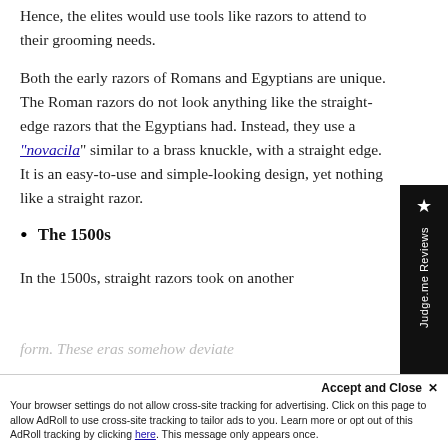Hence, the elites would use tools like razors to attend to their grooming needs.
Both the early razors of Romans and Egyptians are unique. The Roman razors do not look anything like the straight-edge razors that the Egyptians had. Instead, they use a "novacila" similar to a brass knuckle, with a straight edge. It is an easy-to-use and simple-looking design, yet nothing like a straight razor.
The 1500s
In the 1500s, straight razors took on another form. These eras somehow deviate...
Accept and Close ×
Your browser settings do not allow cross-site tracking for advertising. Click on this page to allow AdRoll to use cross-site tracking to tailor ads to you. Learn more or opt out of this AdRoll tracking by clicking here. This message only appears once.